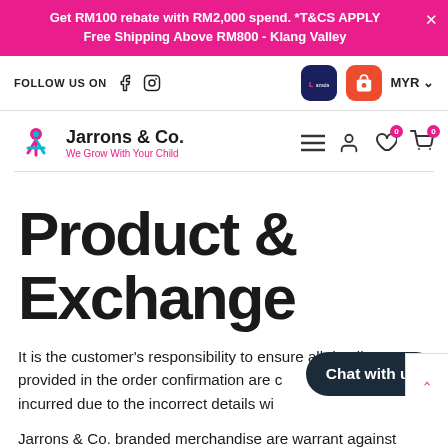Get RM100 rebate with RM2,000 spend. *T&CS APPLY
Free Shipping Above RM800 - Klang Valley
[Figure (logo): Jarrons & Co. logo with person icon, Facebook and Instagram icons, Lazada and Shopee app icons, MYR currency selector]
Product & Exchange
It is the customer's responsibility to ensure all details provided in the order confirmation are correct. Any cost incurred due to the incorrect details will...
Jarrons & Co. branded merchandise are warrant against